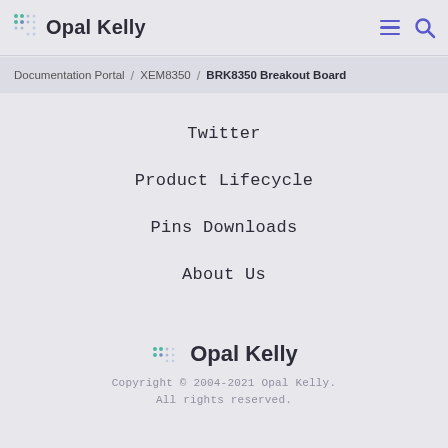Opal Kelly
Documentation Portal / XEM8350 / BRK8350 Breakout Board
Twitter
Product Lifecycle
Pins Downloads
About Us
[Figure (logo): Opal Kelly logo with dot-grid icon]
Copyright © 2004-2021 Opal Kelly. All rights reserved.